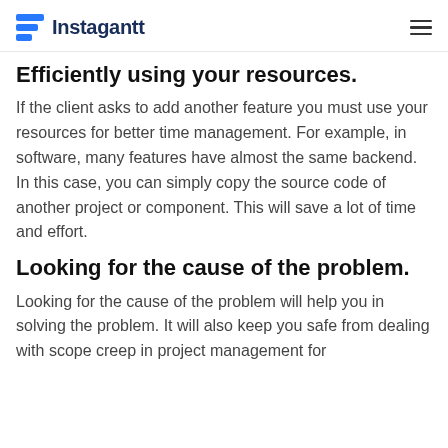Instagantt
Efficiently using your resources.
If the client asks to add another feature you must use your resources for better time management. For example, in software, many features have almost the same backend. In this case, you can simply copy the source code of another project or component. This will save a lot of time and effort.
Looking for the cause of the problem.
Looking for the cause of the problem will help you in solving the problem. It will also keep you safe from dealing with scope creep in project management for